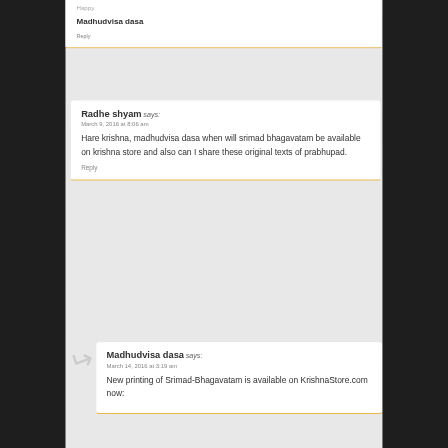Happy.
Madhudvisa dasa
Reply
Radhe shyam says:
March 9, 2016 at 8:06 am
Hare krishna, madhudvisa dasa when will srimad bhagavatam be available on krishna store and also can I share these original texts of prabhupad.
Reply
Madhudvisa dasa says:
March 14, 2016 at 3:19 am
New printing of Srimad-Bhagavatam is available on KrishnaStore.com now: